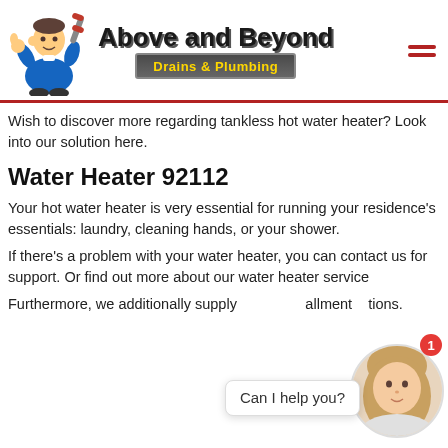[Figure (logo): Above and Beyond Drains & Plumbing logo with plumber mascot holding a wrench]
Wish to discover more regarding tankless hot water heater? Look into our solution here.
Water Heater 92112
Your hot water heater is very essential for running your residence's essentials: laundry, cleaning hands, or your shower.
If there's a problem with your water heater, you can contact us for support. Or find out more about our water heater service
[Figure (photo): Chat widget with female avatar and 'Can I help you?' bubble with notification badge showing 1]
Furthermore, we additionally supply installment solutions.